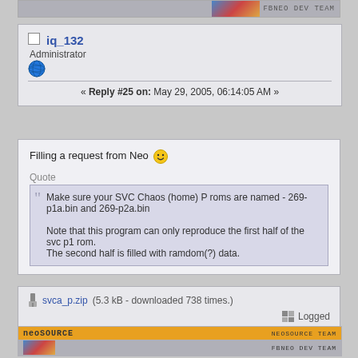[Figure (screenshot): Top banner strip with pixel art characters and FBNEO DEV TEAM text]
iq_132
Administrator
[Figure (illustration): Globe icon]
« Reply #25 on: May 29, 2005, 06:14:05 AM »
Filling a request from Neo :)
Quote
Make sure your SVC Chaos (home) P roms are named - 269-p1a.bin and 269-p2a.bin

Note that this program can only reproduce the first half of the svc p1 rom.
The second half is filled with ramdom(?) data.
svca_p.zip (5.3 kB - downloaded 738 times.)
Logged
[Figure (illustration): NeoSource banner with NEOSOURCE TEAM and FBNEO DEV TEAM text]